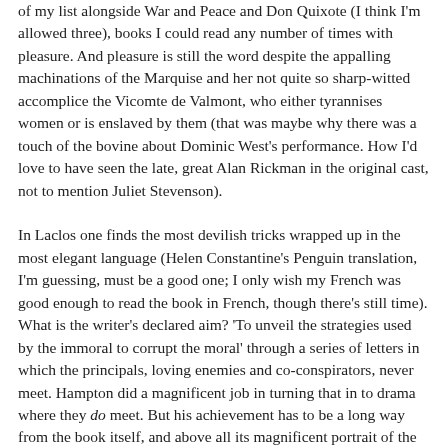of my list alongside War and Peace and Don Quixote (I think I'm allowed three), books I could read any number of times with pleasure. And pleasure is still the word despite the appalling machinations of the Marquise and her not quite so sharp-witted accomplice the Vicomte de Valmont, who either tyrannises women or is enslaved by them (that was maybe why there was a touch of the bovine about Dominic West's performance. How I'd love to have seen the late, great Alan Rickman in the original cast, not to mention Juliet Stevenson).
In Laclos one finds the most devilish tricks wrapped up in the most elegant language (Helen Constantine's Penguin translation, I'm guessing, must be a good one; I only wish my French was good enough to read the book in French, though there's still time). What is the writer's declared aim? 'To unveil the strategies used by the immoral to corrupt the moral' through a series of letters in which the principals, loving enemies and co-conspirators, never meet. Hampton did a magnificent job in turning that in to drama where they do meet. But his achievement has to be a long way from the book itself, and above all its magnificent portrait of the self-contradictory anti-heroine, who is always cleverer than her